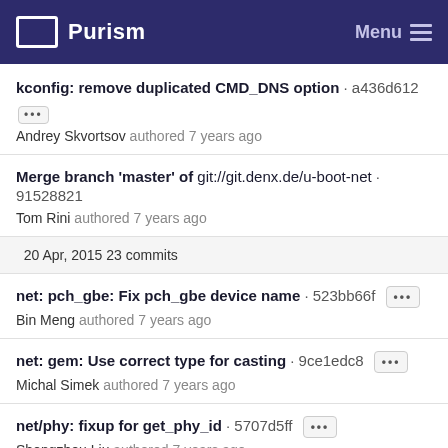Purism   Menu
kconfig: remove duplicated CMD_DNS option · a436d612
Andrey Skvortsov authored 7 years ago
Merge branch 'master' of git://git.denx.de/u-boot-net · 91528821
Tom Rini authored 7 years ago
20 Apr, 2015 23 commits
net: pch_gbe: Fix pch_gbe device name · 523bb66f
Bin Meng authored 7 years ago
net: gem: Use correct type for casting · 9ce1edc8
Michal Simek authored 7 years ago
net/phy: fixup for get_phy_id · 5707d5ff
Shengzhou Liu authored 7 years ago
net: phy: micrel: add support for KSZ8081MNX · c6a40f6e